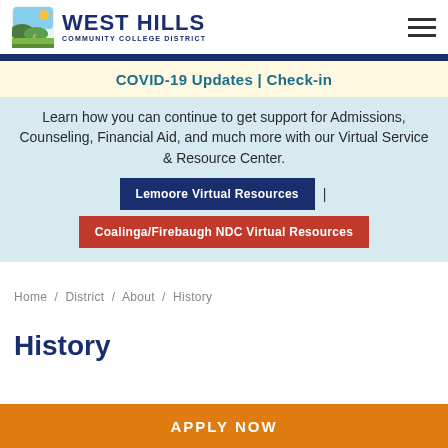West Hills Community College District
COVID-19 Updates | Check-in
Learn how you can continue to get support for Admissions, Counseling, Financial Aid, and much more with our Virtual Service & Resource Center.
Lemoore Virtual Resources | Coalinga/Firebaugh NDC Virtual Resources
Home / District / About / History
History
APPLY NOW